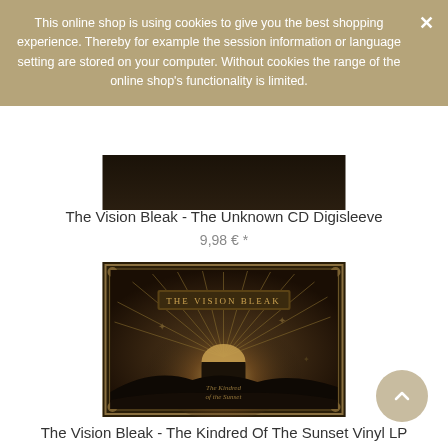This online shop is using cookies to give you the best shopping experience. Thereby for example the session information or language setting are stored on your computer. Without cookies the range of the online shop's functionality is limited.
[Figure (photo): Partial view of a dark album cover image cropped at top]
The Vision Bleak - The Unknown CD Digisleeve
9,98 € *
[Figure (photo): Album cover for The Vision Bleak - The Kindred Of The Sunset, showing a gothic sun rising over a dark landscape with ornate decorative border]
The Vision Bleak - The Kindred Of The Sunset Vinyl LP